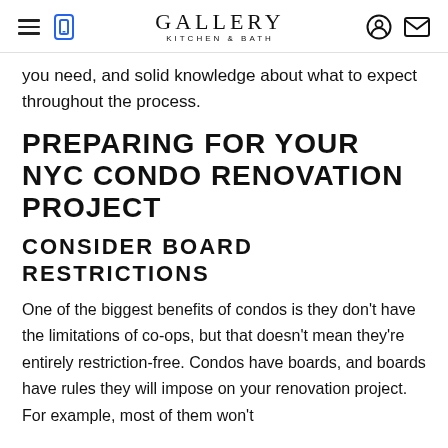GALLERY KITCHEN & BATH
you need, and solid knowledge about what to expect throughout the process.
PREPARING FOR YOUR NYC CONDO RENOVATION PROJECT
CONSIDER BOARD RESTRICTIONS
One of the biggest benefits of condos is they don't have the limitations of co-ops, but that doesn't mean they're entirely restriction-free. Condos have boards, and boards have rules they will impose on your renovation project. For example, most of them won't